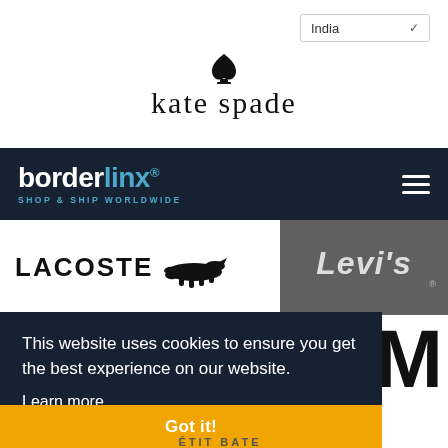India
[Figure (logo): Kate Spade logo with spade symbol above text 'kate spade' in serif font]
[Figure (logo): Borderlinx logo: 'border' in white and 'linx' in blue with registered mark, subtitle 'SHOP & SHIP WORLDWIDE' in blue, on dark navy background, with hamburger menu icon]
[Figure (logo): Lacoste logo: 'LACOSTE' in bold black text with crocodile icon]
[Figure (logo): Levi's logo in italic white text on dark grey background with registered mark]
This website uses cookies to ensure you get the best experience on our website.
Learn more
Got it!
[Figure (logo): Partial Petit Bateau logo text visible at bottom]